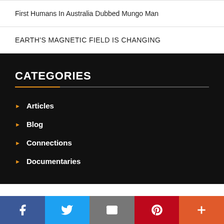First Humans In Australia Dubbed Mungo Man
EARTH'S MAGNETIC FIELD IS CHANGING
CATEGORIES
Articles
Blog
Connections
Documentaries
Facebook | Twitter | Email | Pinterest | More